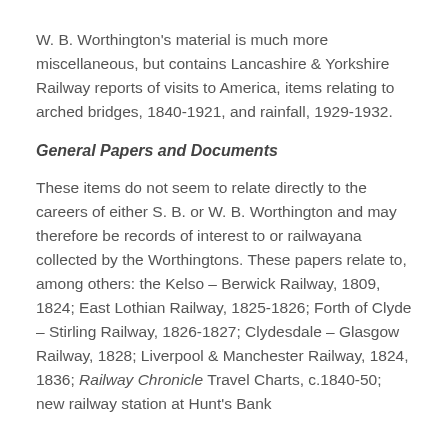W. B. Worthington's material is much more miscellaneous, but contains Lancashire & Yorkshire Railway reports of visits to America, items relating to arched bridges, 1840-1921, and rainfall, 1929-1932.
General Papers and Documents
These items do not seem to relate directly to the careers of either S. B. or W. B. Worthington and may therefore be records of interest to or railwayana collected by the Worthingtons. These papers relate to, among others: the Kelso – Berwick Railway, 1809, 1824; East Lothian Railway, 1825-1826; Forth of Clyde – Stirling Railway, 1826-1827; Clydesdale – Glasgow Railway, 1828; Liverpool & Manchester Railway, 1824, 1836; Railway Chronicle Travel Charts, c.1840-50; new railway station at Hunt's Bank